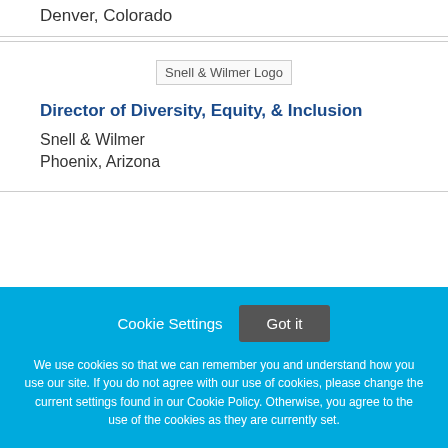Denver, Colorado
[Figure (logo): Snell & Wilmer Logo]
Director of Diversity, Equity, & Inclusion
Snell & Wilmer
Phoenix, Arizona
Cookie Settings
Got it
We use cookies so that we can remember you and understand how you use our site. If you do not agree with our use of cookies, please change the current settings found in our Cookie Policy. Otherwise, you agree to the use of the cookies as they are currently set.